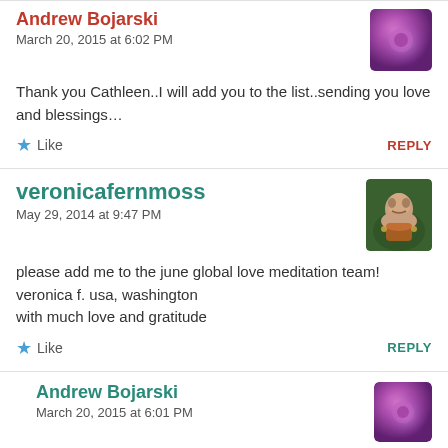Andrew Bojarski
March 20, 2015 at 6:02 PM
Thank you Cathleen..I will add you to the list..sending you love and blessings...
Like
REPLY
veronicafernmoss
May 29, 2014 at 9:47 PM
please add me to the june global love meditation team!
veronica f. usa, washington
with much love and gratitude
Like
REPLY
Andrew Bojarski
March 20, 2015 at 6:01 PM